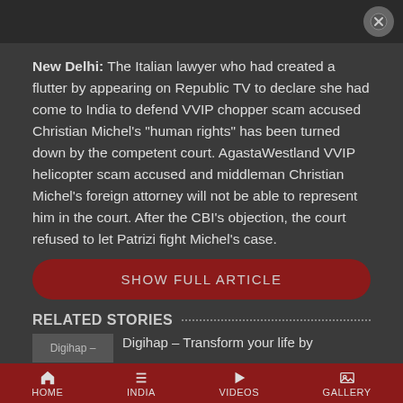[Figure (screenshot): Top dark image strip with a close/cancel button (circle with X) in the top right corner]
New Delhi: The Italian lawyer who had created a flutter by appearing on Republic TV to declare she had come to India to defend VVIP chopper scam accused Christian Michel's "human rights" has been turned down by the competent court. AgastaWestland VVIP helicopter scam accused and middleman Christian Michel's foreign attorney will not be able to represent him in the court. After the CBI's objection, the court refused to let Patrizi fight Michel's case.
SHOW FULL ARTICLE
RELATED STORIES
Digihap – Transform your life by
HOME  INDIA  VIDEOS  GALLERY